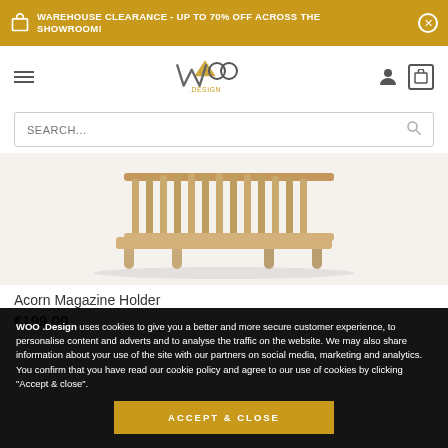WAREHOUSE CLEARANCE - UP TO 70% OFF ACROSS THE SHOWROOM!
[Figure (logo): WOO .Design logo with stylized W and circular OO letters, gold triangle accent]
SEARCH...
[Figure (photo): Acorn Magazine Holder - a wooden slatted rack with round legs on white/cream background]
Acorn Magazine Holder
€199.00
WOO .Design uses cookies to give you a better and more secure customer experience, to personalise content and adverts and to analyse the traffic on the website. We may also share information about your use of the site with our partners on social media, marketing and analytics. You confirm that you have read our cookie policy and agree to our use of cookies by clicking "Accept & close".
ACCEPT & CLOSE